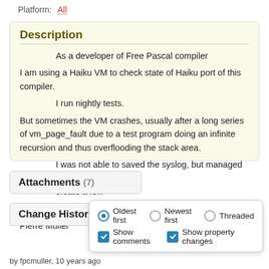Platform: All
Description
As a developer of Free Pascal compiler

I am using a Haiku VM to check state of Haiku port of this compiler.

I run nightly tests.

But sometimes the VM crashes, usually after a long series of vm_page_fault due to a test program doing an infinite recursion and thus overflooding the stack area.

I was not able to saved the syslog, but managed to create a few

snapshots with syslog output after reboot.

Pierre Muller
Attachments (7)
Change History (1...
Oldest first  Newest first  Threaded  Show comments  Show property changes
by fpcmuller, 10 years ago